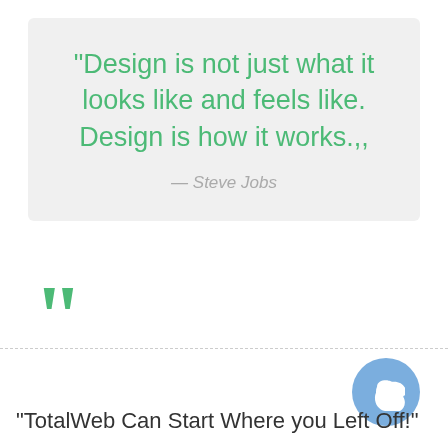“Design is not just what it looks like and feels like. Design is how it works.,,
— Steve Jobs
[Figure (illustration): Large green closing double quotation marks at bottom-left of quote box]
“TotalWeb Can Start Where you Left Off!”